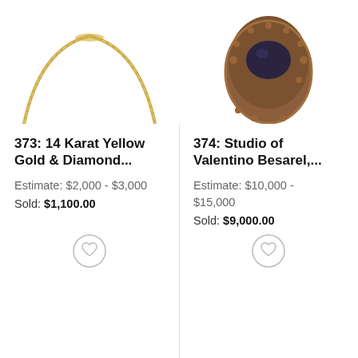[Figure (photo): Partial photo of a 14 Karat Yellow Gold & Diamond necklace chain, cropped at top]
373: 14 Karat Yellow Gold & Diamond...
Estimate: $2,000 - $3,000
Sold: $1,100.00
[Figure (photo): Partial photo of a Studio of Valentino Besarel ornate brooch/pendant with dark stone, cropped at top]
374: Studio of Valentino Besarel,...
Estimate: $10,000 - $15,000
Sold: $9,000.00